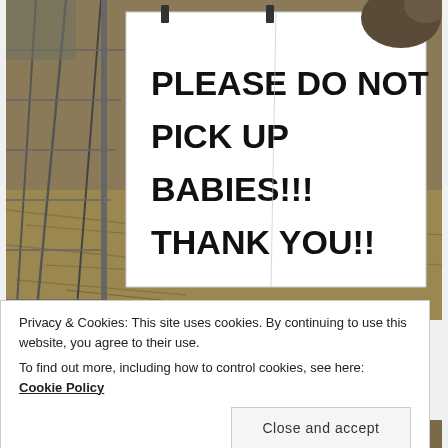[Figure (photo): A photograph of a handwritten sign on white paper clipped to a metal wire fence/cage. The sign reads: PLEASE DO NOT PICK UP BABIES!!! THANK YOU!! in large bold black letters. The background shows hay/straw on the ground and an animal (goat/rabbit) partially visible at top right.]
Privacy & Cookies: This site uses cookies. By continuing to use this website, you agree to their use.
To find out more, including how to control cookies, see here: Cookie Policy
Close and accept